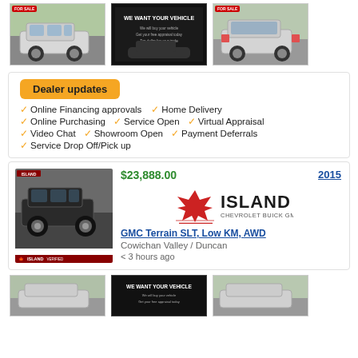[Figure (photo): Three thumbnail images: a silver SUV, a 'WE WANT YOUR VEHICLE' dealer ad, and another silver SUV from rear angle]
Dealer updates
Online Financing approvals
Home Delivery
Online Purchasing
Service Open
Virtual Appraisal
Video Chat
Showroom Open
Payment Deferrals
Service Drop Off/Pick up
[Figure (photo): Listing card showing 2015 GMC Terrain SLT, Low KM, AWD in black. Price $23,888.00. Island Chevrolet Buick GMC EV dealer logo. Location: Cowichan Valley / Duncan. Listed < 3 hours ago.]
[Figure (photo): Three thumbnail images at the bottom (partial): silver SUV, dealer ad, another SUV]